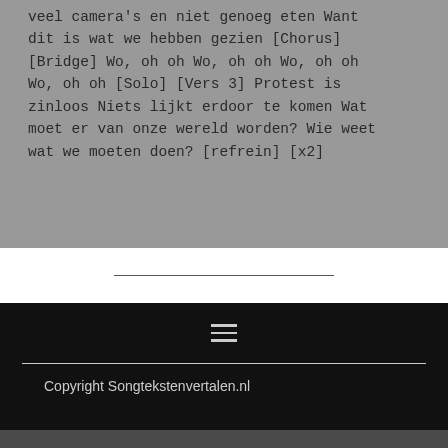veel camera's en niet genoeg eten Want dit is wat we hebben gezien [Chorus] [Bridge] Wo, oh oh Wo, oh oh Wo, oh oh Wo, oh oh [Solo] [Vers 3] Protest is zinloos Niets lijkt erdoor te komen Wat moet er van onze wereld worden? Wie weet wat we moeten doen? [refrein] [x2]
Copyright Songtekstenvertalen.nl